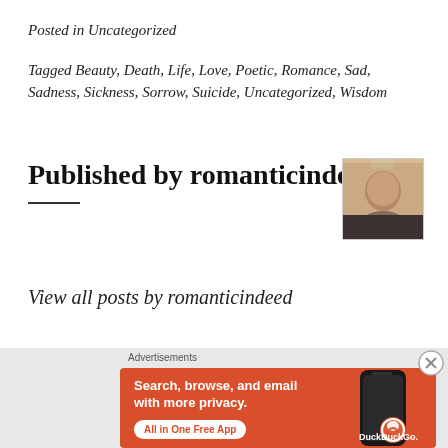Posted in Uncategorized
Tagged Beauty, Death, Life, Love, Poetic, Romance, Sad, Sadness, Sickness, Sorrow, Suicide, Uncategorized, Wisdom
Published by romanticindeed
[Figure (photo): Avatar photo of romanticindeed — headshot of a young person]
View all posts by romanticindeed
Advertisements
[Figure (infographic): DuckDuckGo advertisement: Search, browse, and email with more privacy. All in One Free App. Orange background with phone image and DuckDuckGo logo.]